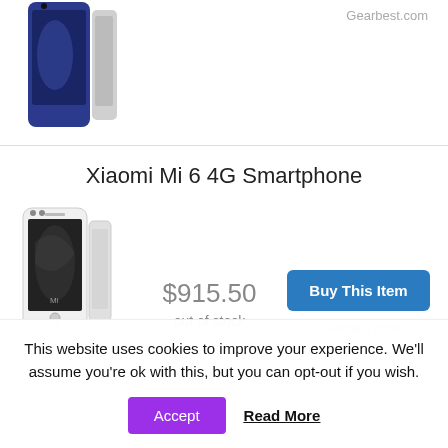[Figure (photo): Partial view of a blue Xiaomi Mi 6 smartphone product image, cropped at top]
Gearbest.com
Xiaomi Mi 6 4G Smartphone
[Figure (photo): White Xiaomi Mi 6 smartphone product image showing front and side view]
$915.50
out of stock
Buy This Item
Gearbest.com
Xiaomi Mi 6 4G Smartphone
[Figure (photo): Partial black Xiaomi Mi 6 smartphone product image, cropped by cookie banner]
$1,005.20
Buy This Item
This website uses cookies to improve your experience. We'll assume you're ok with this, but you can opt-out if you wish.
Accept
Read More